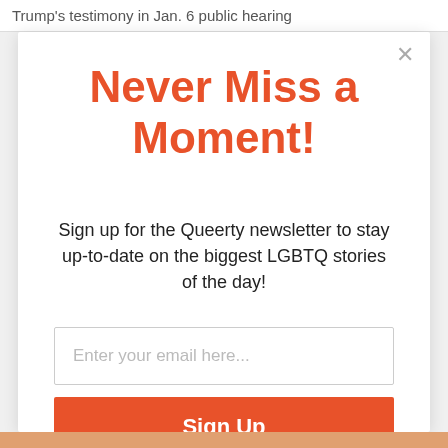Trump's testimony in Jan. 6 public hearing
Never Miss a Moment!
Sign up for the Queerty newsletter to stay up-to-date on the biggest LGBTQ stories of the day!
Enter your email here...
Sign Up